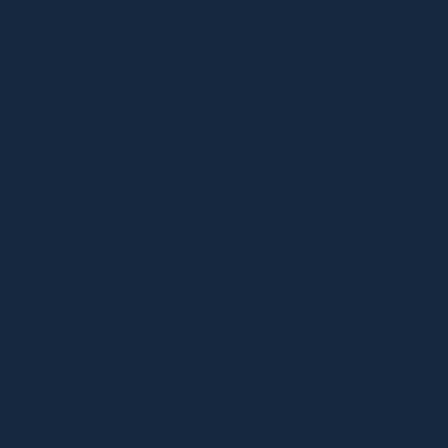sub-ethnicity based on the orig- This was further developed by testing the data to known infor-
Did this research project r- Abroad, Student Internal G- Undergraduate Research?
No
To view the content in your you may Download the file NOTE: The latest versions o- you are using a modern (Im-